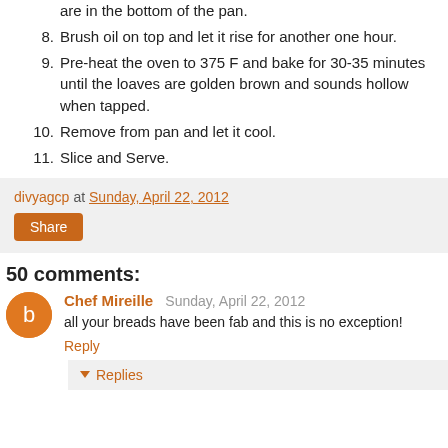are in the bottom of the pan.
8. Brush oil on top and let it rise for another one hour.
9. Pre-heat the oven to 375 F and bake for 30-35 minutes until the loaves are golden brown and sounds hollow when tapped.
10. Remove from pan and let it cool.
11. Slice and Serve.
divyagcp at Sunday, April 22, 2012
Share
50 comments:
Chef Mireille  Sunday, April 22, 2012
all your breads have been fab and this is no exception!
Reply
Replies